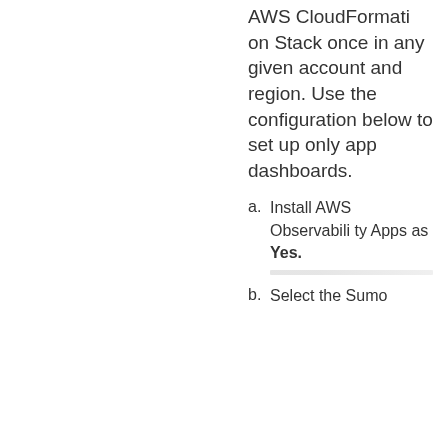AWS CloudFormation Stack once in any given account and region. Use the configuration below to set up only app dashboards.
a. Install AWS Observability Apps as Yes.
b. Select the Sumo...